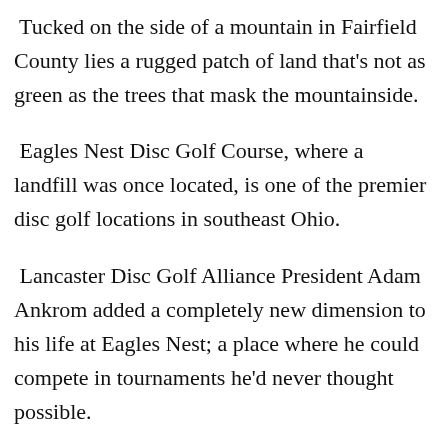Tucked on the side of a mountain in Fairfield County lies a rugged patch of land that's not as green as the trees that mask the mountainside.
Eagles Nest Disc Golf Course, where a landfill was once located, is one of the premier disc golf locations in southeast Ohio.
Lancaster Disc Golf Alliance President Adam Ankrom added a completely new dimension to his life at Eagles Nest; a place where he could compete in tournaments he'd never thought possible.
“I mean, it’s a passion,” Ankrom says. “You really just have to want to do it. When I’m out here doing this